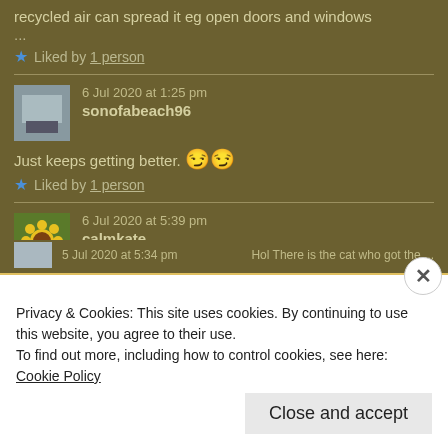recycled air can spread it eg open doors and windows
...
Liked by 1 person
6 Jul 2020 at 1:25 pm
sonofabeach96
Just keeps getting better. 😏😏
Liked by 1 person
6 Jul 2020 at 5:39 pm
calmkate
🙁
Liked by 1 person
5 Jul 2020 at 5:34 pm  Hol There is the cat who got the...
Privacy & Cookies: This site uses cookies. By continuing to use this website, you agree to their use.
To find out more, including how to control cookies, see here: Cookie Policy
Close and accept